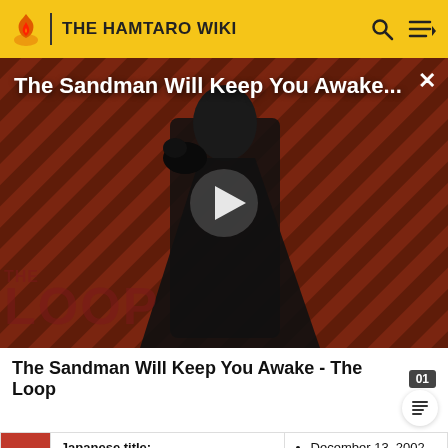THE HAMTARO WIKI
[Figure (screenshot): Video thumbnail overlay titled 'The Sandman Will Keep You Awake...' with a person in dark clothing, THE LOOP watermark, play button, and close X button, over a diagonal striped red-brown background.]
The Sandman Will Keep You Awake - The Loop
| [image] | Japanese title: Sparkle's Crush
• JP: Tottoko Koi Nano! Kururin-chan (□□□□ ! | • December 13, 2002 |